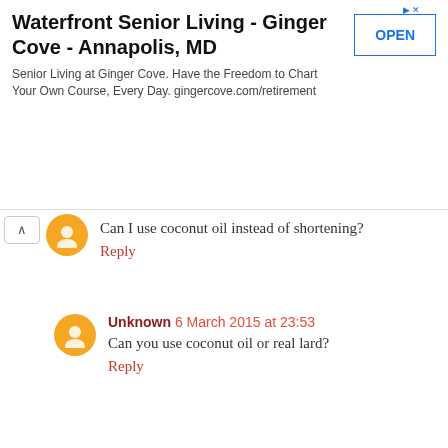[Figure (other): Advertisement banner: Waterfront Senior Living - Ginger Cove - Annapolis, MD. Senior Living at Ginger Cove. Have the Freedom to Chart Your Own Course, Every Day. gingercove.com/retirement. OPEN button.]
Can I use coconut oil instead of shortening?
Reply
Unknown 6 March 2015 at 23:53
Can you use coconut oil or real lard?
Reply
Anonymous 28 April 2015 at 16:54
I LOVE this recipe b/c it's egg free! I have a diffi bread alternatives. THANK YOU!
Reply